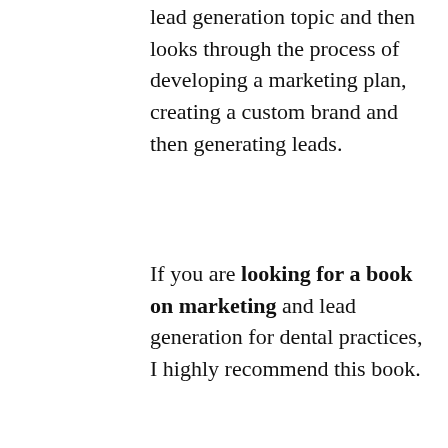lead generation topic and then looks through the process of developing a marketing plan, creating a custom brand and then generating leads.
If you are looking for a book on marketing and lead generation for dental practices, I highly recommend this book.
It is a thorough book that should be read and considered by any dental marketing professional.
You can find Dr.
The DMDentMarketingBook.